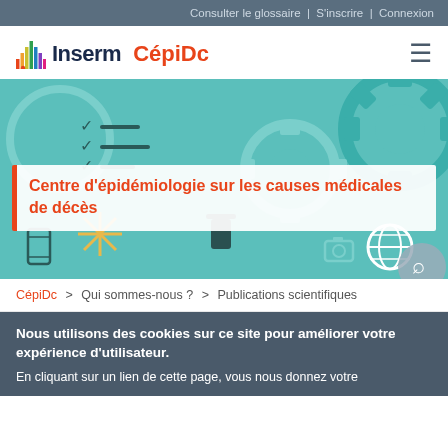Consulter le glossaire | S'inscrire | Connexion
[Figure (logo): Inserm CépiDc logo with colored bars and hamburger menu icon]
[Figure (illustration): Hero banner with teal/cyan background showing gear icons, checklist, globe, camera, and other medical/data icons in flat design style]
Centre d'épidémiologie sur les causes médicales de décès
CépiDc > Qui sommes-nous ? > Publications scientifiques
Nous utilisons des cookies sur ce site pour améliorer votre expérience d'utilisateur.
En cliquant sur un lien de cette page, vous nous donnez votre